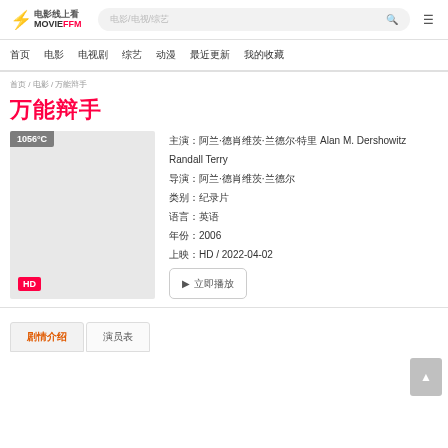电影线上看 MOVIEFFM [search bar] [nav: 首页 电影 电视剧 综艺 动漫 最近更新 我的收藏]
首页 / 电影 / 万能辩手
万能辩手
[Figure (other): Movie poster placeholder with '1056°C' badge at top-left and 'HD' badge at bottom-left]
主演：阿兰·德肖维茨·兰德尔·特里 Alan M. Dershowitz Randall Terry
导演：阿兰·德肖维茨·兰德尔
类别：纪录片
语言：英语
年份：2006
上映：HD / 2022-04-02
▶ 立即播放
剧情介绍
演员表
▲